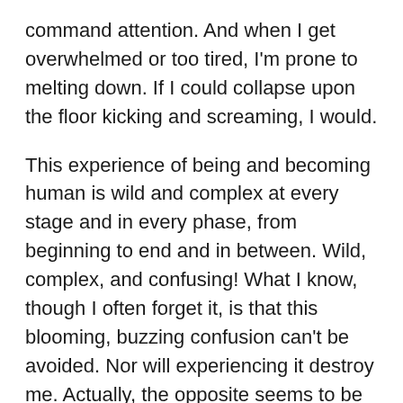command attention. And when I get overwhelmed or too tired, I'm prone to melting down. If I could collapse upon the floor kicking and screaming, I would.
This experience of being and becoming human is wild and complex at every stage and in every phase, from beginning to end and in between. Wild, complex, and confusing! What I know, though I often forget it, is that this blooming, buzzing confusion can't be avoided. Nor will experiencing it destroy me. Actually, the opposite seems to be true: it is through beholding and entering into the blooming, buzzing confusion as it continually manifests in the world and within me that my deepest learning happens.
That's the teaching the tiny red-headed human gave me yesterday. He reminded me of the transformative potential